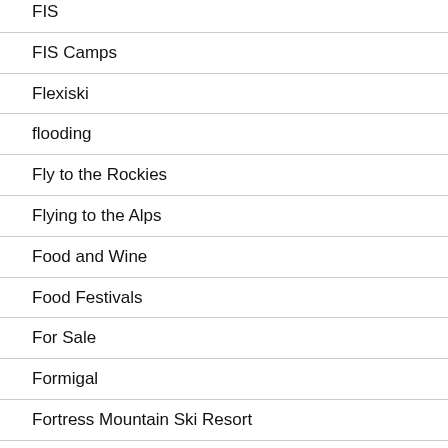FIS
FIS Camps
Flexiski
flooding
Fly to the Rockies
Flying to the Alps
Food and Wine
Food Festivals
For Sale
Formigal
Fortress Mountain Ski Resort
France Mont…